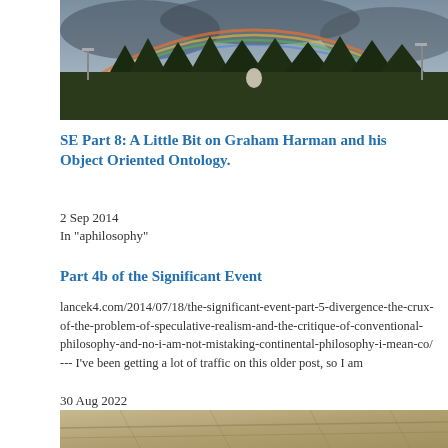[Figure (photo): Outdoor photo showing a rainbow over trees against a cloudy sky, with street lights visible]
SE Part 8: A Little Bit on Graham Harman and his Object Oriented Ontology.
2 Sep 2014
In "aphilosophy"
Part 4b of the Significant Event
lancek4.com/2014/07/18/the-significant-event-part-5-divergence-the-crux-of-the-problem-of-speculative-realism-and-the-critique-of-conventional-philosophy-and-no-i-am-not-mistaking-continental-philosophy-i-mean-co/ --- I've been getting a lot of traffic on this older post, so I am
30 Aug 2022
In "philosophy"
[Figure (photo): Partial view of another photo at the bottom of the page]